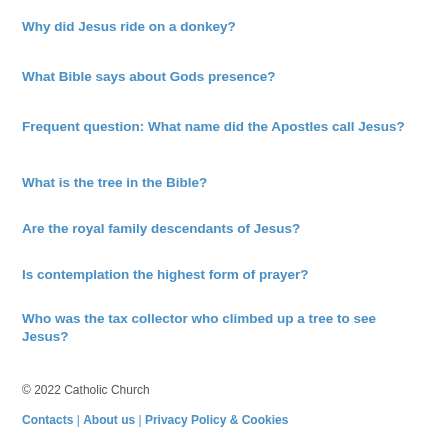Why did Jesus ride on a donkey?
What Bible says about Gods presence?
Frequent question: What name did the Apostles call Jesus?
What is the tree in the Bible?
Are the royal family descendants of Jesus?
Is contemplation the highest form of prayer?
Who was the tax collector who climbed up a tree to see Jesus?
© 2022 Catholic Church
Contacts | About us | Privacy Policy & Cookies